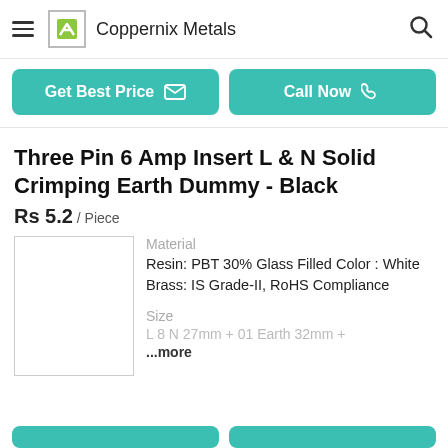Coppernix Metals
Get Best Price | Call Now
Three Pin 6 Amp Insert L & N Solid Crimping Earth Dummy - Black
Rs 5.2 / Piece
Material
Resin: PBT 30% Glass Filled Color : White Brass: IS Grade-II, RoHS Compliance
Size
L 8 N 27mm + 01 Earth 32mm + ...more